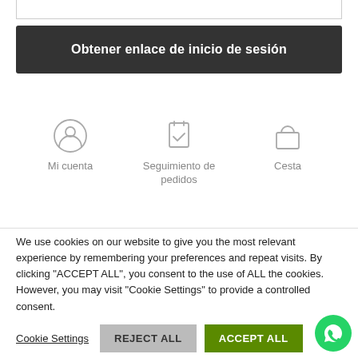[Figure (screenshot): Partial input field (top border of a text input)]
Obtener enlace de inicio de sesión
[Figure (infographic): Three icons row: Mi cuenta (user/account icon), Seguimiento de pedidos (checkmark/clipboard icon), Cesta (shopping bag icon)]
We use cookies on our website to give you the most relevant experience by remembering your preferences and repeat visits. By clicking "ACCEPT ALL", you consent to the use of ALL the cookies. However, you may visit "Cookie Settings" to provide a controlled consent.
Cookie Settings
REJECT ALL
ACCEPT ALL